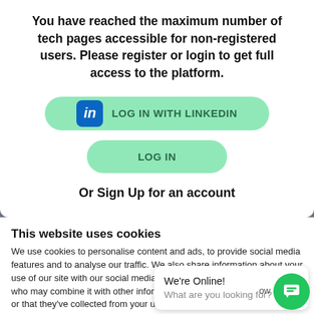You have reached the maximum number of tech pages accessible for non-registered users. Please register or login to get full access to the platform.
[Figure (screenshot): Green rounded button with LinkedIn logo icon and text LOG IN WITH LINKEDIN]
[Figure (screenshot): Green rounded button with text LOG IN]
Or Sign Up for an account
This website uses cookies
We use cookies to personalise content and ads, to provide social media features and to analyse our traffic. We also share information about your use of our site with our social media, advertising and analytics partners who may combine it with other information that you've provided to them or that they've collected from your use of their services. You consent to our cookies if you continue to use our website.
[Figure (screenshot): Blue OK button]
We're Online! What are you looking for?